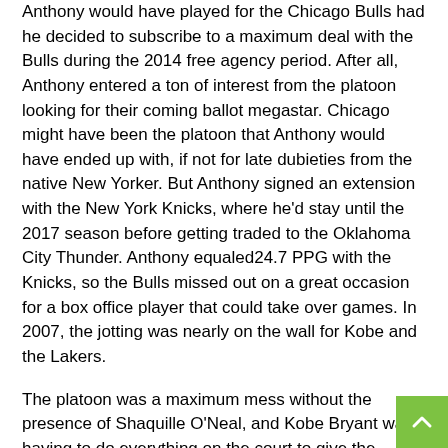Anthony would have played for the Chicago Bulls had he decided to subscribe to a maximum deal with the Bulls during the 2014 free agency period. After all, Anthony entered a ton of interest from the platoon looking for their coming ballot megastar. Chicago might have been the platoon that Anthony would have ended up with, if not for late dubieties from the native New Yorker. But Anthony signed an extension with the New York Knicks, where he'd stay until the 2017 season before getting traded to the Oklahoma City Thunder. Anthony equaled24.7 PPG with the Knicks, so the Bulls missed out on a great occasion for a box office player that could take over games. In 2007, the jotting was nearly on the wall for Kobe and the Lakers.
The platoon was a maximum mess without the presence of Shaquille O'Neal, and Kobe Bryant was having to do everything on the court to give the platoon a chance to win. That's why Kobe Bryant could have continued Michael Jordan's heritage